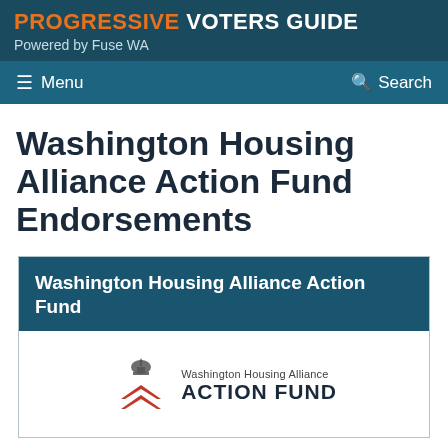PROGRESSIVE VOTERS GUIDE
Powered by Fuse WA
Menu   Search
Washington Housing Alliance Action Fund Endorsements
Washington Housing Alliance Action Fund
[Figure (logo): Washington Housing Alliance Action Fund logo with capitol dome icon above red chevron arrows and text 'Washington Housing Alliance ACTION FUND']